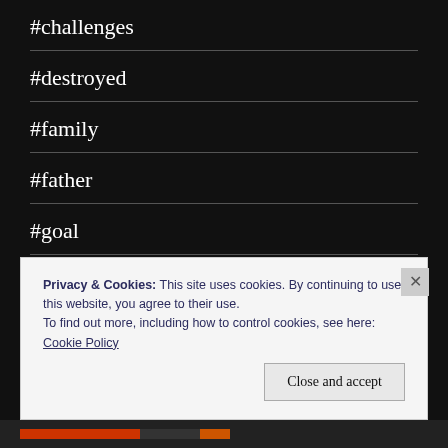#challenges
#destroyed
#family
#father
#goal
#happy
#life
Privacy & Cookies: This site uses cookies. By continuing to use this website, you agree to their use.
To find out more, including how to control cookies, see here: Cookie Policy
Close and accept